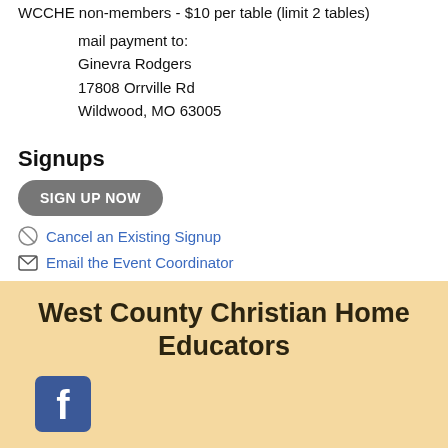WCCHE non-members - $10 per table (limit 2 tables)
mail payment to:
Ginevra Rodgers
17808 Orrville Rd
Wildwood, MO 63005
Signups
SIGN UP NOW
Cancel an Existing Signup
Email the Event Coordinator
West County Christian Home Educators
[Figure (logo): Facebook logo icon — dark blue square with rounded corners and white 'f' letter]
[Figure (logo): West County Christian Home Educators logo with WCC initials and stylized text]